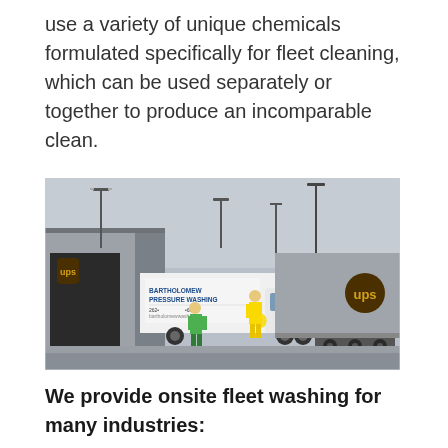use a variety of unique chemicals formulated specifically for fleet cleaning, which can be used separately or together to produce an incomparable clean.
[Figure (photo): Outdoor parking lot scene showing a Bartholomew Pressure Washing truck and a UPS trailer. Two workers in high-visibility yellow/green gear are walking in the lot near a building.]
We provide onsite fleet washing for many industries: